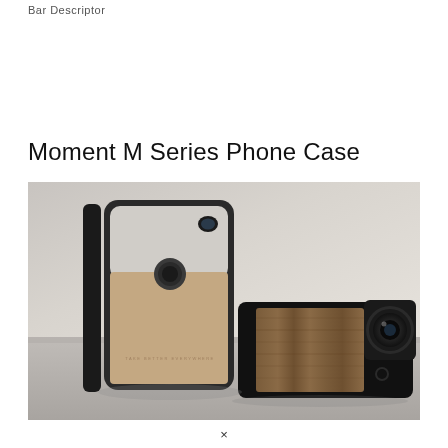Bar Descriptor
Moment M Series Phone Case
[Figure (photo): Product photo showing Moment M Series phone cases: a beige/tan leather case with gray top panel leaning against a dark surface in the foreground, and a black phone case with wood grain panel and an attached wide-angle camera lens lying flat in the background.]
×